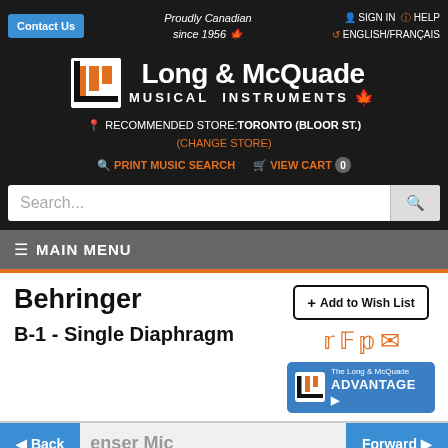Contact Us | Proudly Canadian since 1956 | SIGN IN | HELP | ENGLISH/FRANÇAIS
[Figure (logo): Long & McQuade Musical Instruments logo with orange grid icon and maple leaf]
RECOMMENDED STORE: TORONTO (BLOOR ST.) (CHANGE STORE)
PRINT MUSIC SEARCH | VIEW CART 0
Search...
≡ MAIN MENU
Behringer
B-1 - Single Diaphragm
+ Add to Wish List
[Figure (logo): The Long & McQuade Advantage badge in blue with orange icon]
enser Mic
◄ Back | Forward ►